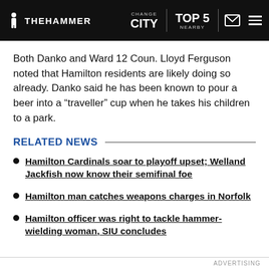INTHEHAMMER | CHANGE CITY | TOP 5 NEARBY
Both Danko and Ward 12 Coun. Lloyd Ferguson noted that Hamilton residents are likely doing so already. Danko said he has been known to pour a beer into a “traveller” cup when he takes his children to a park.
RELATED NEWS
Hamilton Cardinals soar to playoff upset; Welland Jackfish now know their semifinal foe
Hamilton man catches weapons charges in Norfolk
Hamilton officer was right to tackle hammer-wielding woman, SIU concludes
ADVERTISING